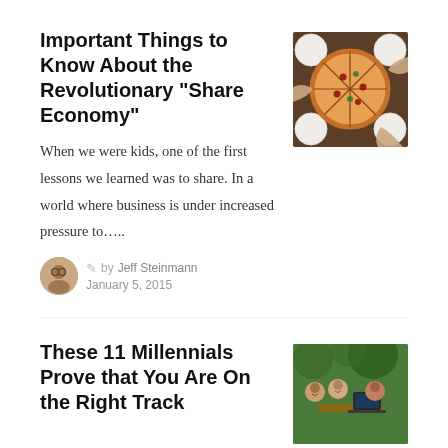Important Things to Know About the Revolutionary “Share Economy”
[Figure (photo): Overhead view of hands reaching for pizza slices on white plates around a wooden table]
When we were kids, one of the first lessons we learned was to share. In a world where business is under increased pressure to……
by Jeff Steinmann
January 5, 2015
These 11 Millennials Prove that You Are On the Right Track
[Figure (photo): Young people sitting together outdoors at a table, smiling and using laptops]